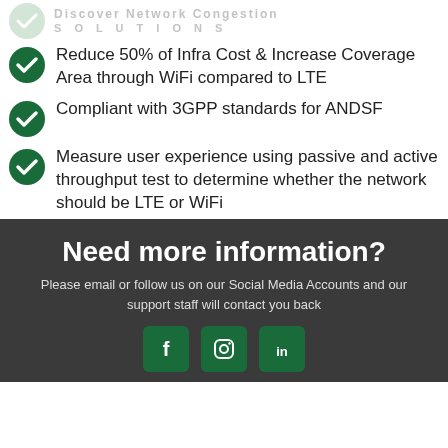Discover Network Congestion SOLUTIONS
Reduce 50% of Infra Cost & Increase Coverage Area through WiFi compared to LTE
Compliant with 3GPP standards for ANDSF
Measure user experience using passive and active throughput test to determine whether the network should be LTE or WiFi
Need more information?
Please email or follow us on our Social Media Accounts and our support staff will contact you back
[Figure (infographic): Social media icons: Facebook, Instagram, LinkedIn]